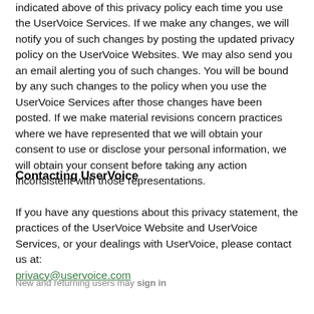indicated above of this privacy policy each time you use the UserVoice Services. If we make any changes, we will notify you of such changes by posting the updated privacy policy on the UserVoice Websites. We may also send you an email alerting you of such changes. You will be bound by any such changes to the policy when you use the UserVoice Services after those changes have been posted. If we make material revisions concern practices where we have represented that we will obtain your consent to use or disclose your personal information, we will obtain your consent before taking any action inconsistent with those representations.
Contacting UserVoice
If you have any questions about this privacy statement, the practices of the UserVoice Website and UserVoice Services, or your dealings with UserVoice, please contact us at: privacy@uservoice.com
New and returning users may sign in